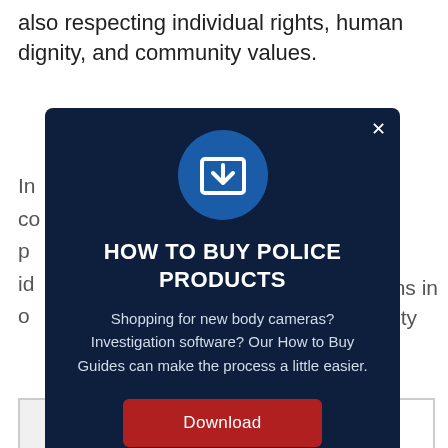also respecting individual rights, human dignity, and community values.
[Figure (screenshot): Modal popup with dark navy background. Contains a blue circle icon with a download symbol, bold white uppercase title 'HOW TO BUY POLICE PRODUCTS', white body text about shopping for body cameras and investigation software, and a red Download button. A close (×) button is in the top right corner.]
itizens in quality o[f]
In co p id o